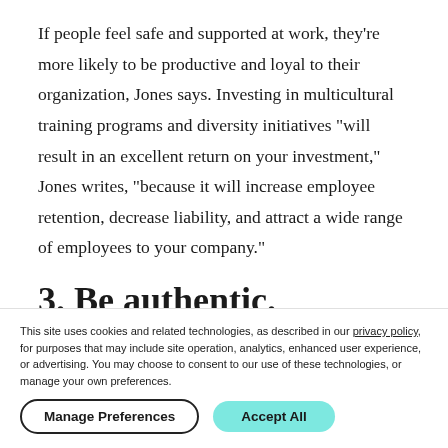If people feel safe and supported at work, they're more likely to be productive and loyal to their organization, Jones says. Investing in multicultural training programs and diversity initiatives "will result in an excellent return on your investment," Jones writes, "because it will increase employee retention, decrease liability, and attract a wide range of employees to your company."
3. Be authentic.
Authentic leaders cultivate more genuine relationships with
This site uses cookies and related technologies, as described in our privacy policy, for purposes that may include site operation, analytics, enhanced user experience, or advertising. You may choose to consent to our use of these technologies, or manage your own preferences.